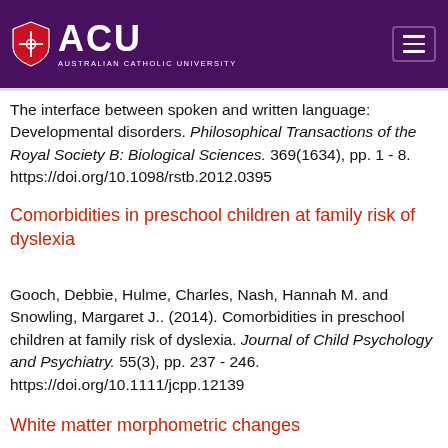[Figure (logo): ACU Australian Catholic University logo on purple header background with hamburger menu icon]
The interface between spoken and written language: Developmental disorders. Philosophical Transactions of the Royal Society B: Biological Sciences. 369(1634), pp. 1 - 8. https://doi.org/10.1098/rstb.2012.0395
Comorbidities in preschool children at family risk of dyslexia
Gooch, Debbie, Hulme, Charles, Nash, Hannah M. and Snowling, Margaret J.. (2014). Comorbidities in preschool children at family risk of dyslexia. Journal of Child Psychology and Psychiatry. 55(3), pp. 237 - 246. https://doi.org/10.1111/jcpp.12139
White matter morphometric changes